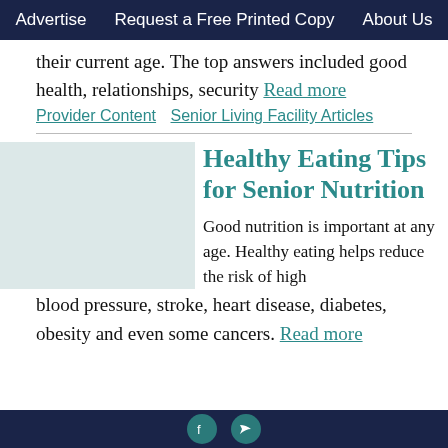Advertise   Request a Free Printed Copy   About Us
their current age. The top answers included good health, relationships, security Read more
Provider Content  Senior Living Facility Articles
Healthy Eating Tips for Senior Nutrition
Good nutrition is important at any age. Healthy eating helps reduce the risk of high blood pressure, stroke, heart disease, diabetes, obesity and even some cancers. Read more